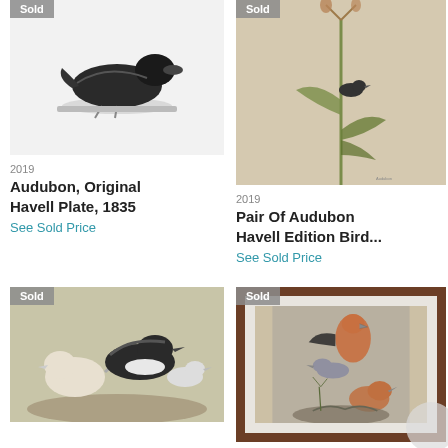[Figure (photo): Artwork listing: Audubon duck/bird illustration on white background, top-left, marked Sold]
[Figure (photo): Artwork listing: Audubon botanical bird illustration on tan background, top-right, marked Sold]
2019
Audubon, Original Havell Plate, 1835
See Sold Price
2019
Pair Of Audubon Havell Edition Bird...
See Sold Price
[Figure (photo): Artwork listing: Audubon seabird illustration in muted tones, bottom-left, marked Sold]
[Figure (photo): Artwork listing: Audubon hawk/bird illustration in brown wooden frame, bottom-right, marked Sold]